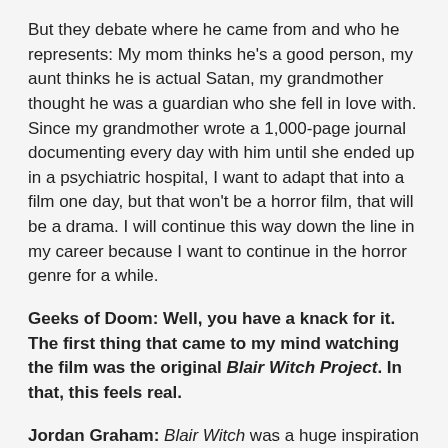But they debate where he came from and who he represents: My mom thinks he's a good person, my aunt thinks he is actual Satan, my grandmother thought he was a guardian who she fell in love with. Since my grandmother wrote a 1,000-page journal documenting every day with him until she ended up in a psychiatric hospital, I want to adapt that into a film one day, but that won't be a horror film, that will be a drama. I will continue this way down the line in my career because I want to continue in the horror genre for a while.
Geeks of Doom: Well, you have a knack for it. The first thing that came to my mind watching the film was the original Blair Witch Project. In that, this feels real.
Jordan Graham: Blair Witch was a huge inspiration on the film. The music for one thing, the song at the end of the credits of Blair Witch was hugely influential in how I